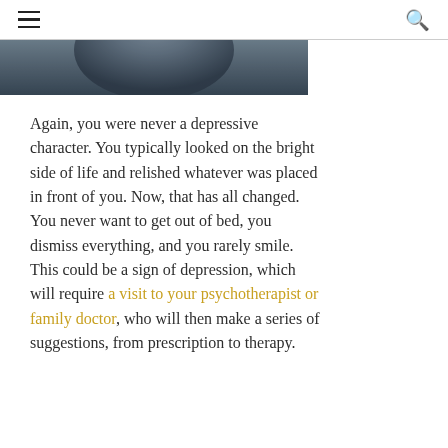≡  🔍
[Figure (photo): Partial view of a person's head/face in dark tones, cropped at the top of the page]
Again, you were never a depressive character. You typically looked on the bright side of life and relished whatever was placed in front of you. Now, that has all changed. You never want to get out of bed, you dismiss everything, and you rarely smile. This could be a sign of depression, which will require a visit to your psychotherapist or family doctor, who will then make a series of suggestions, from prescription to therapy.